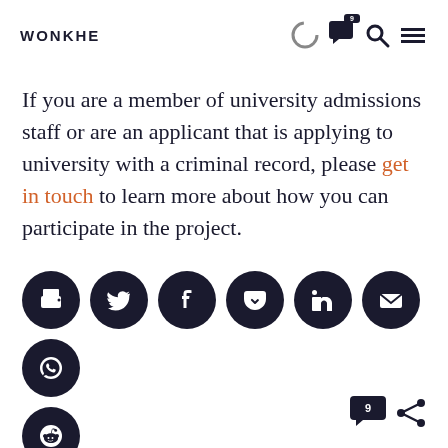WONKHE
If you are a member of university admissions staff or are an applicant that is applying to university with a criminal record, please get in touch to learn more about how you can participate in the project.
[Figure (other): Social sharing icons: print, Twitter, Facebook, Pocket, LinkedIn, email, WhatsApp, Reddit]